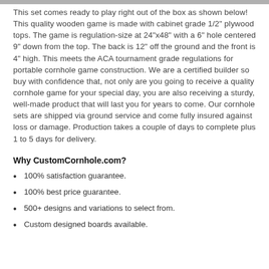This set comes ready to play right out of the box as shown below! This quality wooden game is made with cabinet grade 1/2" plywood tops. The game is regulation-size at 24"x48" with a 6" hole centered 9" down from the top. The back is 12" off the ground and the front is 4" high. This meets the ACA tournament grade regulations for portable cornhole game construction. We are a certified builder so buy with confidence that, not only are you going to receive a quality cornhole game for your special day, you are also receiving a sturdy, well-made product that will last you for years to come. Our cornhole sets are shipped via ground service and come fully insured against loss or damage. Production takes a couple of days to complete plus 1 to 5 days for delivery.
Why CustomCornhole.com?
100% satisfaction guarantee.
100% best price guarantee.
500+ designs and variations to select from.
Custom designed boards available.